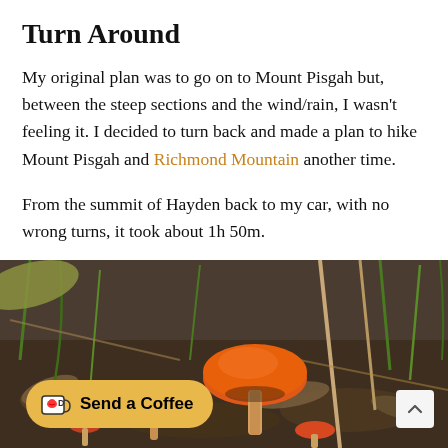Turn Around
My original plan was to go on to Mount Pisgah but, between the steep sections and the wind/rain, I wasn't feeling it. I decided to turn back and made a plan to hike Mount Pisgah and Richmond Mountain another time.
From the summit of Hayden back to my car, with no wrong turns, it took about 1h 50m.
Heading back down, I came across this tiny stand of bright red Wax Cap mushrooms.
[Figure (photo): Close-up photograph of bright orange/red Wax Cap mushrooms growing on forest floor among grass, leaves, and twigs]